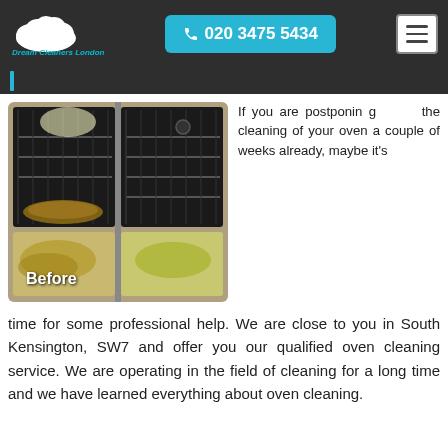020 3475 5434 | Dream Cleaners London
[Figure (photo): Before and after photo of a dirty oven with open doors showing grimy interior, labeled 'Before']
If you are postponing the cleaning of your oven a couple of weeks already, maybe it's time for some professional help. We are close to you in South Kensington, SW7 and offer you our qualified oven cleaning service. We are operating in the field of cleaning for a long time and we have learned everything about oven cleaning.